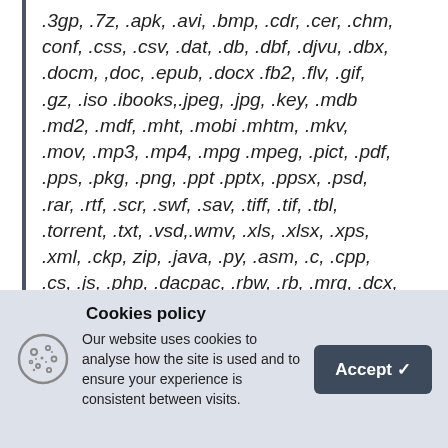.3gp, .7z, .apk, .avi, .bmp, .cdr, .cer, .chm, conf, .css, .csv, .dat, .db, .dbf, .djvu, .dbx, .docm, ,doc, .epub, .docx .fb2, .flv, .gif, .gz, .iso .ibooks,.jpeg, .jpg, .key, .mdb .md2, .mdf, .mht, .mobi .mhtm, .mkv, .mov, .mp3, .mp4, .mpg .mpeg, .pict, .pdf, .pps, .pkg, .png, .ppt .pptx, .ppsx, .psd, .rar, .rtf, .scr, .swf, .sav, .tiff, .tif, .tbl, .torrent, .txt, .vsd,.wmv, .xls, .xlsx, .xps, .xml, .ckp, zip, .java, .py, .asm, .c, .cpp, .cs, .js, .php, .dacpac, .rbw, .rb, .mrg, .dcx, .db3, .sql, .sqlite3, .sqlite, .sqlitedb, .psd,
Cookies policy
Our website uses cookies to analyse how the site is used and to ensure your experience is consistent between visits.